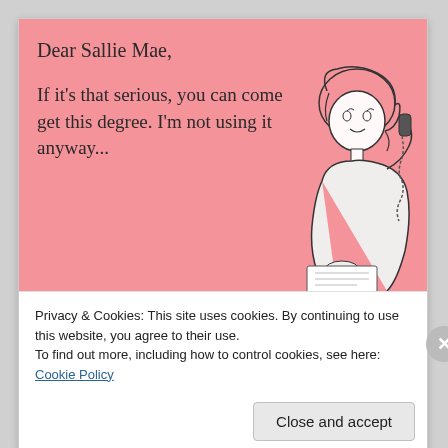[Figure (illustration): Pink ecard with text 'Dear Sallie Mae, If it's that serious, you can come get this degree. I'm not using it anyway...' with a vintage line-art illustration of a woman on the phone on the right side.]
Privacy & Cookies: This site uses cookies. By continuing to use this website, you agree to their use.
To find out more, including how to control cookies, see here: Cookie Policy
Close and accept